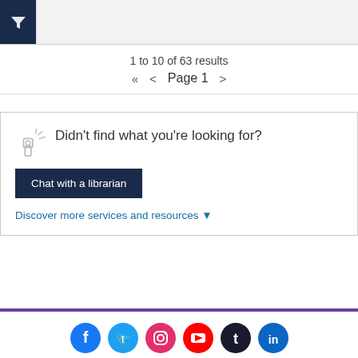[Figure (screenshot): Dark navy filter button with funnel icon on left, grey search bar area on right]
1 to 10 of 63 results
« < Page 1 >
Didn't find what you're looking for?
Chat with a librarian
Discover more services and resources
[Figure (infographic): Social media icons row: Facebook (blue circle), Twitter (cyan circle), Instagram (pink circle), YouTube (red circle), Tumblr (dark circle), LinkedIn (blue circle)]